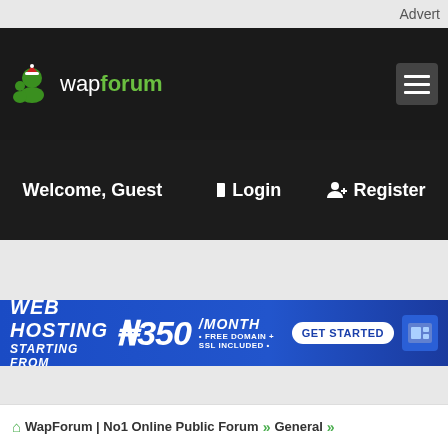Advert
[Figure (logo): WapForum logo with green icon and hamburger menu button on dark background]
Welcome, Guest   ➡ Login   👤+ Register
[Figure (infographic): Web Hosting banner ad: WEB HOSTING STARTING FROM ₦350/MONTH GET STARTED • FREE DOMAIN + SSL INCLUDED]
🏠 WapForum | No1 Online Public Forum » General »